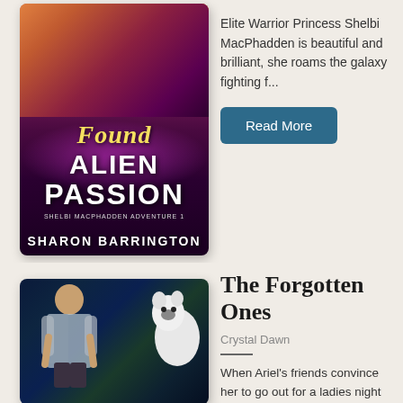[Figure (illustration): Book cover for 'Found Alien Passion' by Sharon Barrington — sci-fi romance cover with female figure, city skyline, purple/magenta energy glow. Text: FOUND ALIEN PASSION, Shelbi MacPhadden Adventure 1, Sharon Barrington.]
Elite Warrior Princess Shelbi MacPhadden is beautiful and brilliant, she roams the galaxy fighting f...
Read More
[Figure (illustration): Book cover for 'The Forgotten Ones' by Crystal Dawn — paranormal romance cover featuring a muscular shirtless man and a white wolf in a dark forest setting.]
The Forgotten Ones
Crystal Dawn
When Ariel's friends convince her to go out for a ladies night with them, she doesn't realize her wh...